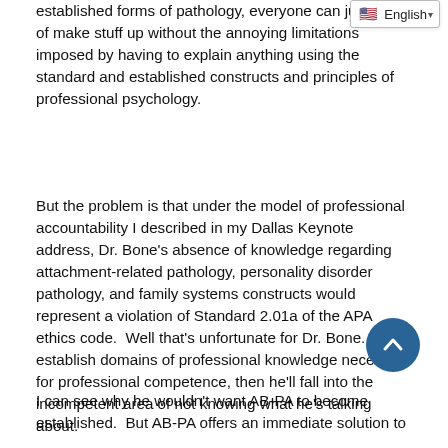established forms of pathology, everyone can just kind of make stuff up without the annoying limitations imposed by having to explain anything using the standard and established constructs and principles of professional psychology.
But the problem is that under the model of professional accountability I described in my Dallas Keynote address, Dr. Bone's absence of knowledge regarding attachment-related pathology, personality disorder pathology, and family systems constructs would represent a violation of Standard 2.01a of the APA ethics code.  Well that's unfortunate for Dr. Bone.  If we establish domains of professional knowledge necessary for professional competence, then he'll fall into the incompetent area of not knowing what he's talking about.
I can see why he wouldn't want AB-PA to become established.  But AB-PA offers an immediate solution to